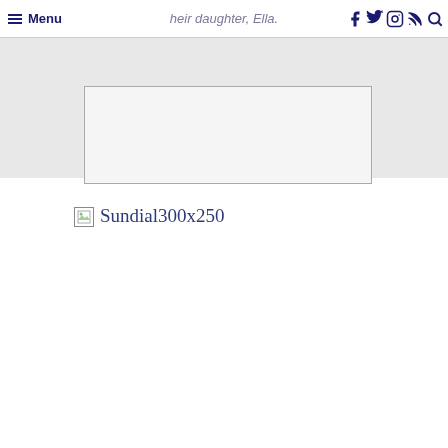Menu | their daughter, Ella.
[Figure (screenshot): Gray background area with a white/light gray bordered box in the center, appearing to be a content placeholder or image area on a webpage]
[Figure (photo): Broken image placeholder icon followed by alt text 'Sundial300x250' in dark blue serif font, indicating a failed image load for an advertisement or image named Sundial300x250]